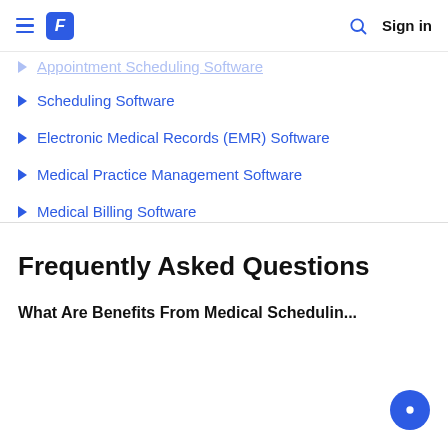Financesonline navigation bar with hamburger menu, logo, search icon, and Sign in
Appointment Scheduling Software (partial, faded)
Scheduling Software
Electronic Medical Records (EMR) Software
Medical Practice Management Software
Medical Billing Software
Medical Lab Software
Frequently Asked Questions
What Are Benefits From Medical Scheduling...